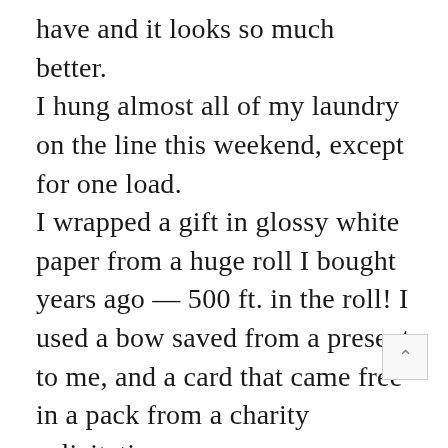have and it looks so much better. I hung almost all of my laundry on the line this weekend, except for one load. I wrapped a gift in glossy white paper from a huge roll I bought years ago — 500 ft. in the roll! I used a bow saved from a present to me, and a card that came free in a pack from a charity solicitation. I refilled my fountain pen. I love that pen. I'm working on making some Christmas gifts ahead. I'm steadily using Duolingo (suggested by